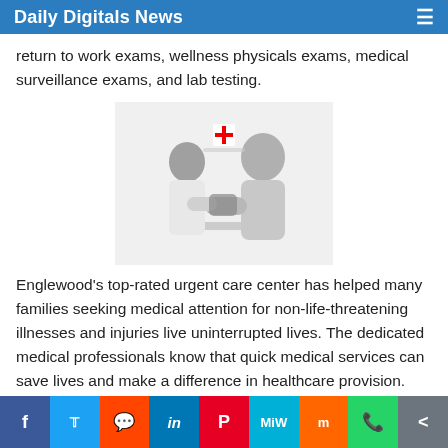Daily Digitals News
return to work exams, wellness physicals exams, medical surveillance exams, and lab testing.
[Figure (photo): A healthcare professional taking blood pressure of a young male patient at an urgent care clinic. A red medical cross logo is visible in the background.]
Englewood's top-rated urgent care center has helped many families seeking medical attention for non-life-threatening illnesses and injuries live uninterrupted lives. The dedicated medical professionals know that quick medical services can save lives and make a difference in healthcare provision. Unlike the exhausting, stretched-out wait times and expensive emergency rooms, AFC Urgent Care Broadway urgent care offers affordable, easily accessible, and convenient walk-in care. This means a patient can seek treatment without an appointment. The clinic is open Monday
f  Twitter  Reddit  in  Pinterest  MiW  Mix  WhatsApp  Share